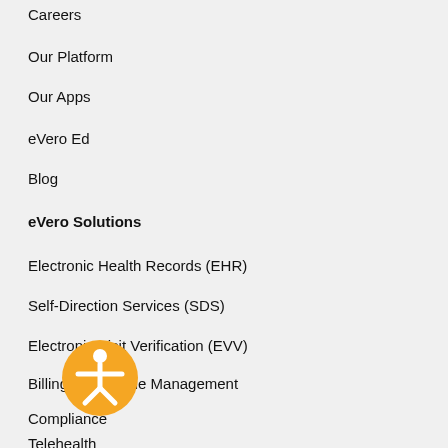Careers
Our Platform
Our Apps
eVero Ed
Blog
eVero Solutions
Electronic Health Records (EHR)
Self-Direction Services (SDS)
Electronic Visit Verification (EVV)
Billing & Revenue Management
Compliance
Telehealth
Managed Services
[Figure (illustration): Orange circular accessibility icon with a person silhouette]